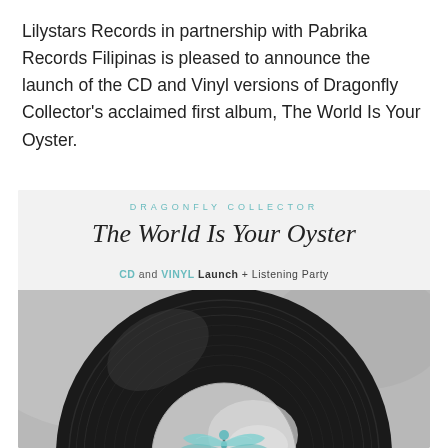Lilystars Records in partnership with Pabrika Records Filipinas is pleased to announce the launch of the CD and Vinyl versions of Dragonfly Collector's acclaimed first album, The World Is Your Oyster.
[Figure (illustration): Album art for Dragonfly Collector's 'The World Is Your Oyster'. Upper white/light grey area shows text: 'DRAGONFLY COLLECTOR' in teal spaced letters, below it cursive title 'The World Is Your Oyster', then 'CD and VINYL Launch + Listening Party'. Lower portion shows a large vinyl record (black/dark grey) with a shiny silver center label, and a teal/blue dragonfly illustration in the center.]